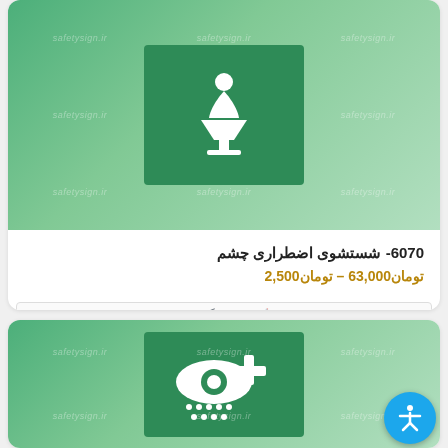[Figure (illustration): Green safety sign showing emergency eye wash station icon (person washing eyes) with safetysign.ir watermark, displayed on a green gradient card background]
6070- شستشوی اضطراری چشم
تومان2,500 – تومان63,000
🛒 انتخاب گزینه‌ها
[Figure (illustration): Green safety sign showing an eye with medical cross symbol and water droplet dots below, representing emergency eye care, with safetysign.ir watermark on green gradient background]